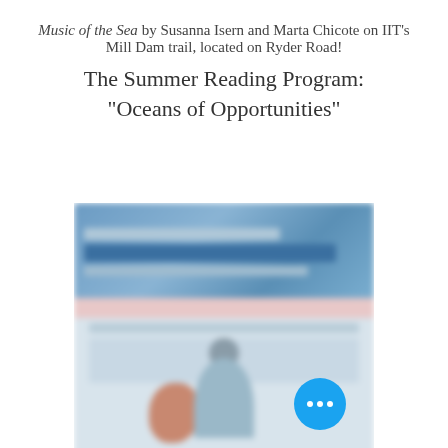Music of the Sea by Susanna Isern and Marta Chicote on IIT's Mill Dam trail, located on Ryder Road!
The Summer Reading Program: "Oceans of Opportunities"
[Figure (photo): Blurred image of a Summer Reading Program flyer featuring text and illustrated figures of children, with a blue header section and pink strip]